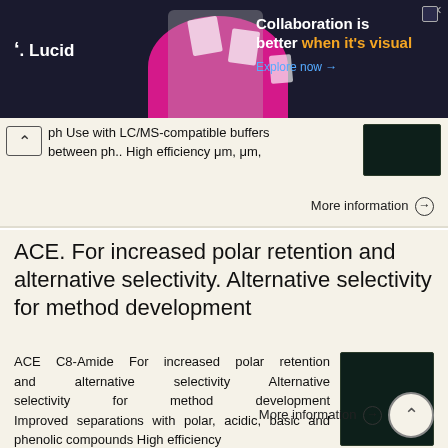[Figure (screenshot): Lucid advertisement banner: dark background with logo 'Lucid', illustration of a person with pink blob and document icons, text 'Collaboration is better when it's visual. Explore now →'. Close button top right.]
ph Use with LC/MS-compatible buffers between ph.. High efficiency μm, μm,
More information →
ACE. For increased polar retention and alternative selectivity. Alternative selectivity for method development
ACE C8-Amide For increased polar retention and alternative selectivity Alternative selectivity for method development Improved separations with polar, acidic, basic and phenolic compounds High efficiency
More information →